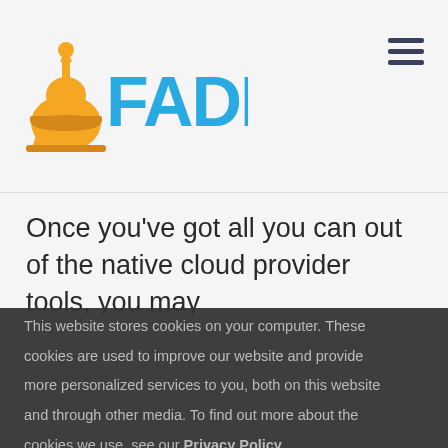FADDOM
Once you’ve got all you can out of the native cloud provider tools, you may
This website stores cookies on your computer. These cookies are used to improve our website and provide more personalized services to you, both on this website and through other media. To find out more about the cookies we use, see our Privacy Policy.